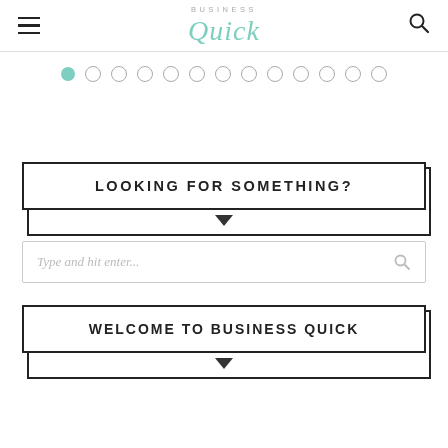Business Quick – navigation header with hamburger menu, logo, and search icon
[Figure (other): Carousel pagination dots – one filled green dot followed by 13 empty circle dots]
LOOKING FOR SOMETHING?
[Figure (other): Search input field with placeholder text 'Type and hit enter...' and a search icon]
WELCOME TO BUSINESS QUICK